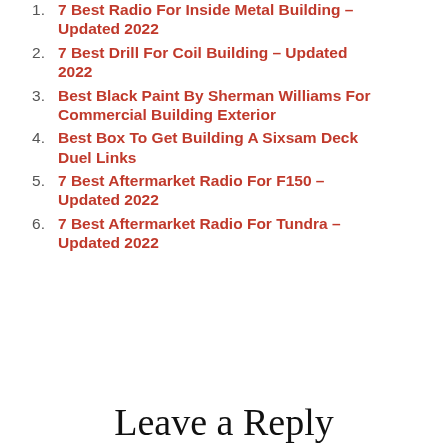7 Best Radio For Inside Metal Building – Updated 2022
7 Best Drill For Coil Building – Updated 2022
Best Black Paint By Sherman Williams For Commercial Building Exterior
Best Box To Get Building A Sixsam Deck Duel Links
7 Best Aftermarket Radio For F150 – Updated 2022
7 Best Aftermarket Radio For Tundra – Updated 2022
Leave a Reply